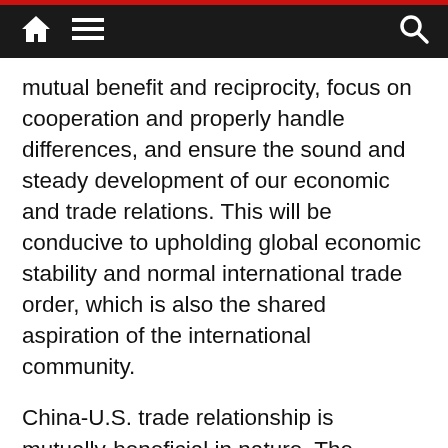Navigation bar with home icon, menu icon, and search icon
mutual benefit and reciprocity, focus on cooperation and properly handle differences, and ensure the sound and steady development of our economic and trade relations. This will be conducive to upholding global economic stability and normal international trade order, which is also the shared aspiration of the international community.
China-U.S. trade relationship is mutually-beneficial in nature. The unilateral actions undertaken by the U.S. will directly harm the interests of U.S. consumers, companies, and financial markets. Apparently, the imports of